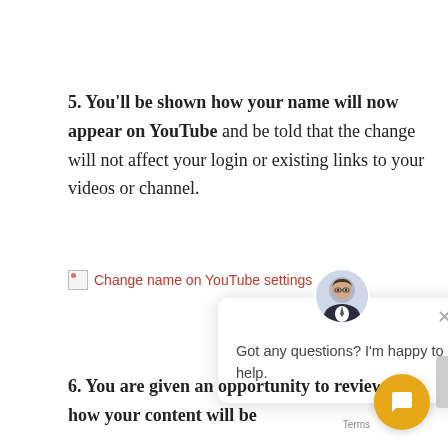5. You'll be shown how your name will now appear on YouTube and be told that the change will not affect your login or existing links to your videos or channel.
[Figure (screenshot): Broken image placeholder with alt text 'Change name on YouTube settings' shown in red/link color]
[Figure (screenshot): Chat popup with avatar photo of a man in glasses and suit, close button (x), and text 'Got any questions? I'm happy to help.']
6. You are given an opportunity to review how your content will be